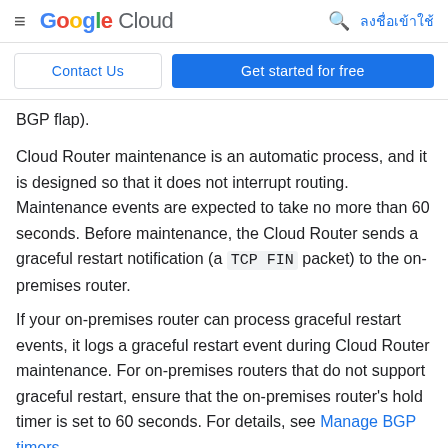Google Cloud — ลงชื่อเข้าใช้
Contact Us   Get started for free
BGP flap).
Cloud Router maintenance is an automatic process, and it is designed so that it does not interrupt routing. Maintenance events are expected to take no more than 60 seconds. Before maintenance, the Cloud Router sends a graceful restart notification (a TCP FIN packet) to the on-premises router.
If your on-premises router can process graceful restart events, it logs a graceful restart event during Cloud Router maintenance. For on-premises routers that do not support graceful restart, ensure that the on-premises router's hold timer is set to 60 seconds. For details, see Manage BGP timers.